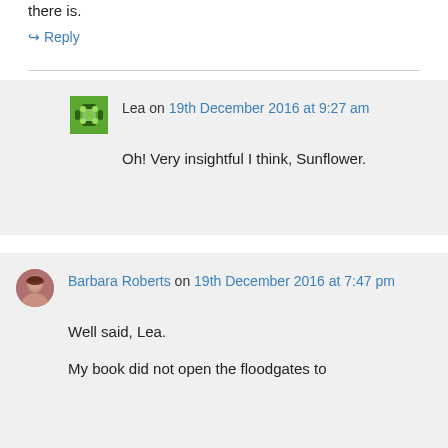there is.
↪ Reply
Lea on 19th December 2016 at 9:27 am
Oh! Very insightful I think, Sunflower.
Barbara Roberts on 19th December 2016 at 7:47 pm
Well said, Lea.
My book did not open the floodgates to